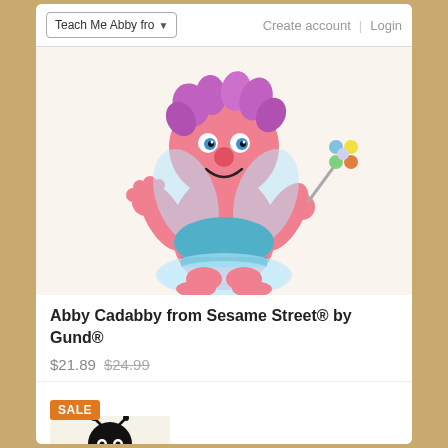Teach Me Abby fro▾   Create account   Login
[Figure (photo): Abby Cadabby Sesame Street plush toy with pink body, fairy wings, blue sparkly dress, and colorful wand]
Abby Cadabby from Sesame Street® by Gund®
$21.89  $24.99
[Figure (photo): Bee costume stuffed animal toy, partially visible at bottom of page, with SALE badge]
SALE